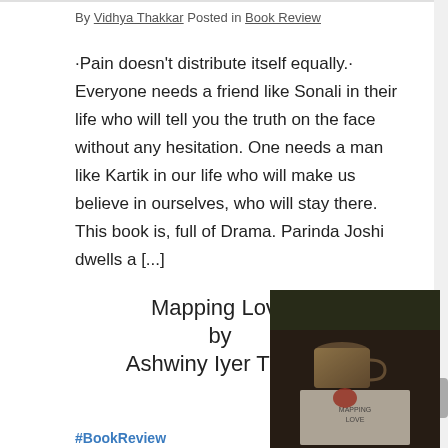By Vidhya Thakkar Posted in Book Review
·Pain doesn't distribute itself equally.· Everyone needs a friend like Sonali in their life who will tell you the truth on the face without any hesitation. One needs a man like Kartik in our life who will make us believe in ourselves, who will stay there. This book is, full of Drama. Parinda Joshi dwells a [...]
Mapping Love
by
Ashwiny Iyer Tiwari
[Figure (photo): Photo of a book titled 'Mapping Love' by Ashwiny Iyer Tiwari on a table with a glass mug and plants in the background]
#BookReview